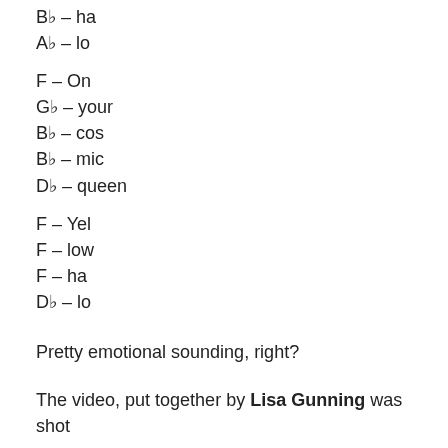Bb – ha
Ab – lo
F – On
Gb – your
Bb – cos
Bb – mic
Db – queen
F – Yel
F – low
F – ha
Db – lo
Pretty emotional sounding, right?
The video, put together by Lisa Gunning was shot entirely on an iPhone, while Coldplay visited South